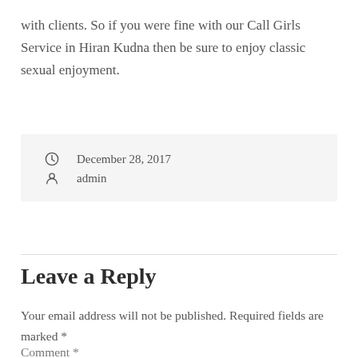with clients. So if you were fine with our Call Girls Service in Hiran Kudna then be sure to enjoy classic sexual enjoyment.
December 28, 2017
admin
Leave a Reply
Your email address will not be published. Required fields are marked *
Comment *